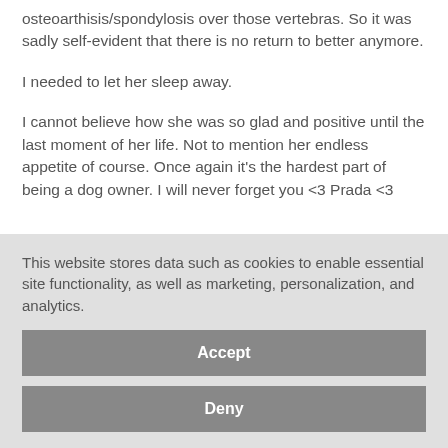osteoarthisis/spondylosis over those vertebras. So it was sadly self-evident that there is no return to better anymore.
I needed to let her sleep away.
I cannot believe how she was so glad and positive until the last moment of her life. Not to mention her endless appetite of course. Once again it's the hardest part of being a dog owner. I will never forget you <3 Prada <3
This website stores data such as cookies to enable essential site functionality, as well as marketing, personalization, and analytics.
Accept
Deny